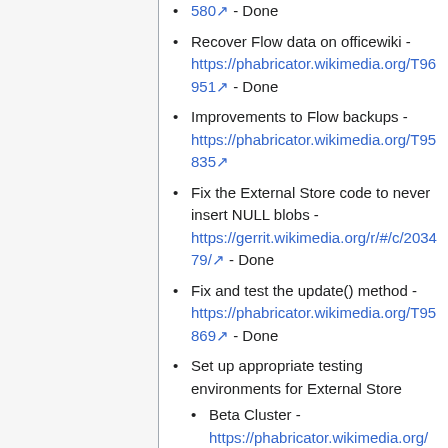580 - Done
Recover Flow data on officewiki - https://phabricator.wikimedia.org/T96951 - Done
Improvements to Flow backups - https://phabricator.wikimedia.org/T95835
Fix the External Store code to never insert NULL blobs - https://gerrit.wikimedia.org/r/#/c/203479/ - Done
Fix and test the update() method - https://phabricator.wikimedia.org/T95869 - Done
Set up appropriate testing environments for External Store
Beta Cluster - https://phabricator.wikimedia.org/T95871
MediaWiki Vagrant